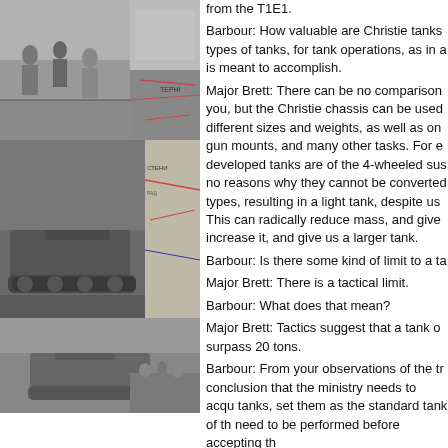[Figure (photo): Collage of black-and-white photographs showing soldiers, tanks, and a map. Top row: soldiers running/fighting and a partial photo. Middle row: large photo of a tank with a long gun barrel and soldiers, overlapping a map detail. Bottom row: a tank in a field and soldiers grouped together.]
from the T1E1.
Barbour: How valuable are Christie tanks types of tanks, for tank operations, as in a is meant to accomplish.
Major Brett: There can be no comparison you, but the Christie chassis can be used different sizes and weights, as well as on gun mounts, and many other tasks. For e developed tanks are of the 4-wheeled sus no reasons why they cannot be converted types, resulting in a light tank, despite us This can radically reduce mass, and give increase it, and give us a larger tank.
Barbour: Is there some kind of limit to a ta
Major Brett: There is a tactical limit.
Barbour: What does that mean?
Major Brett: Tactics suggest that a tank o surpass 20 tons.
Barbour: From your observations of the tr conclusion that the ministry needs to acq tanks, set them as the standard tank of th need to be performed before accepting th
Major Brett: It is difficult to answer this qu Christie chassis currently satisfies the rec forces. We know that any mechanism...